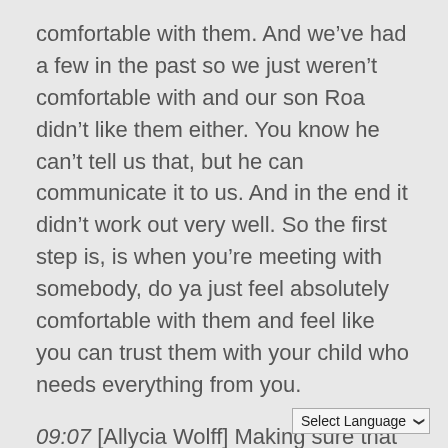comfortable with them. And we've had a few in the past so we just weren't comfortable with and our son Roa didn't like them either. You know he can't tell us that, but he can communicate it to us. And in the end it didn't work out very well. So the first step is, is when you're meeting with somebody, do ya just feel absolutely comfortable with them and feel like you can trust them with your child who needs everything from you.
09:07 [Allycia Wolff] Making sure that your like vibes align. It sounds, it sounds kind of hippie, but it's, I think that, that there's a lot of warrant to that.